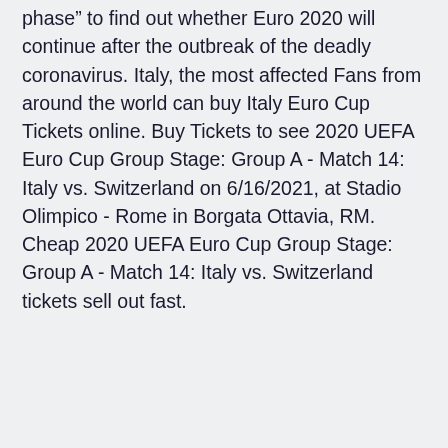phase" to find out whether Euro 2020 will continue after the outbreak of the deadly coronavirus. Italy, the most affected Fans from around the world can buy Italy Euro Cup Tickets online. Buy Tickets to see 2020 UEFA Euro Cup Group Stage: Group A - Match 14: Italy vs. Switzerland on 6/16/2021, at Stadio Olimpico - Rome in Borgata Ottavia, RM. Cheap 2020 UEFA Euro Cup Group Stage: Group A - Match 14: Italy vs. Switzerland tickets sell out fast.